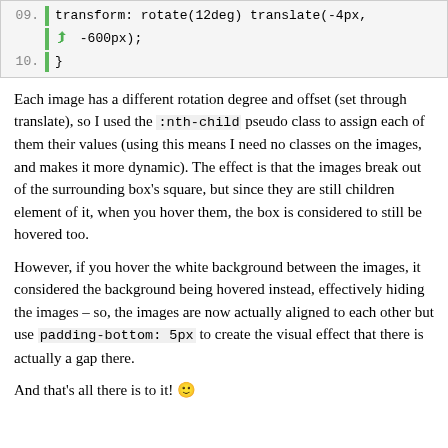[Figure (screenshot): Code block showing CSS lines 09 and 10. Line 09: transform: rotate(12deg) translate(-4px, -600px); Line 10: }]
Each image has a different rotation degree and offset (set through translate), so I used the :nth-child pseudo class to assign each of them their values (using this means I need no classes on the images, and makes it more dynamic). The effect is that the images break out of the surrounding box's square, but since they are still children element of it, when you hover them, the box is considered to still be hovered too.
However, if you hover the white background between the images, it considered the background being hovered instead, effectively hiding the images – so, the images are now actually aligned to each other but use padding-bottom: 5px to create the visual effect that there is actually a gap there.
And that's all there is to it! 🙂